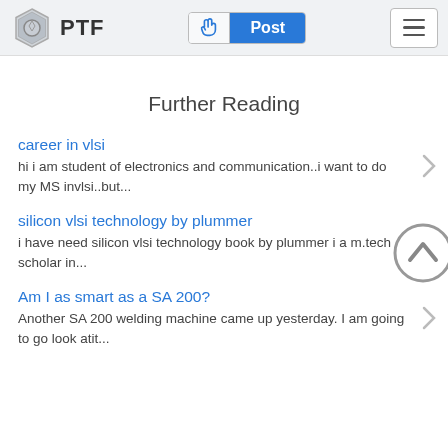PTF — navigation bar with Post button and hamburger menu
Further Reading
career in vlsi
hi i am student of electronics and communication..i want to do my MS invlsi..but...
silicon vlsi technology by plummer
i have need silicon vlsi technology book by plummer i a m.tech scholar in...
Am I as smart as a SA 200?
Another SA 200 welding machine came up yesterday. I am going to go look atit...